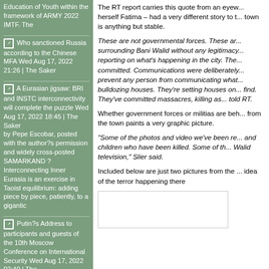Education of Youth within the framework of ARMY 2022 IMTF. The
Who sanctioned Russia according to the Chinese MFA Wed Aug 17, 2022 21:26 | The Saker
A Eurasian jigsaw: BRI and INSTC interconnectivity will complete the puzzle Wed Aug 17, 2022 18:45 | The Saker by Pepe Escobar, posted with the author?s permission and widely cross-posted SAMARKAND ? Interconnecting Inner Eurasia is an exercise in Taoist equilibrium: adding piece by piece, patiently, to a gigantic
Putin?s Address to participants and guests of the 10th Moscow Conference on International Security Wed Aug 17, 2022 02:40 | The
The RT report carries this quote from an eyew... herself Fatima – had a very different story to t... town is anything but stable.
These are not governmental forces. These ar... surrounding Bani Walid without any legitimacy... reporting on what's happening in the city. The... committed. Communications were deliberately... prevent any person from communicating what... bulldozing houses. They're setting houses on... find. They've committed massacres, killing as... told RT.
Whether government forces or militias are beh... from the town paints a very graphic picture.
“Some of the photos and video we’ve been re... and children who have been killed. Some of th... Walid television,” Slier said.
Included below are just two pictures from the ... idea of the terror happening there
[Figure (photo): Image placeholder — bottom right of page, bordered rectangle]